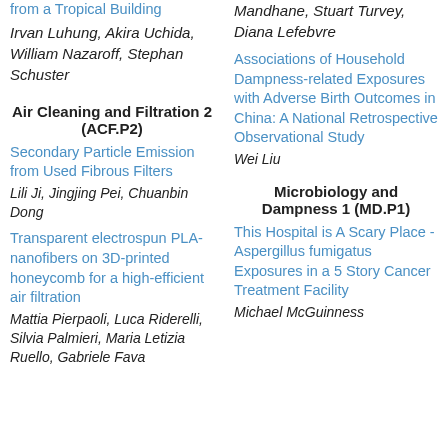from a Tropical Building Irvan Luhung, Akira Uchida, William Nazaroff, Stephan Schuster
Air Cleaning and Filtration 2 (ACF.P2)
Secondary Particle Emission from Used Fibrous Filters
Lili Ji, Jingjing Pei, Chuanbin Dong
Transparent electrospun PLA-nanofibers on 3D-printed honeycomb for a high-efficient air filtration
Mattia Pierpaoli, Luca Riderelli, Silvia Palmieri, Maria Letizia Ruello, Gabriele Fava
Mandhane, Stuart Turvey, Diana Lefebvre
Associations of Household Dampness-related Exposures with Adverse Birth Outcomes in China: A National Retrospective Observational Study
Wei Liu
Microbiology and Dampness 1 (MD.P1)
This Hospital is A Scary Place - Aspergillus fumigatus Exposures in a 5 Story Cancer Treatment Facility
Michael McGuinness